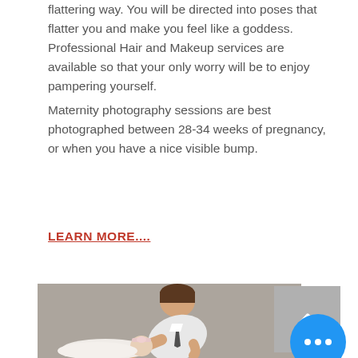flattering way. You will be directed into poses that flatter you and make you feel like a goddess. Professional Hair and Makeup services are available so that your only worry will be to enjoy pampering yourself. Maternity photography sessions are best photographed between 28-34 weeks of pregnancy, or when you have a nice visible bump.
LEARN MORE....
[Figure (photo): Photo of a young toddler boy in a white shirt leaning down to kiss a newborn baby wrapped in white, against a grey studio background]